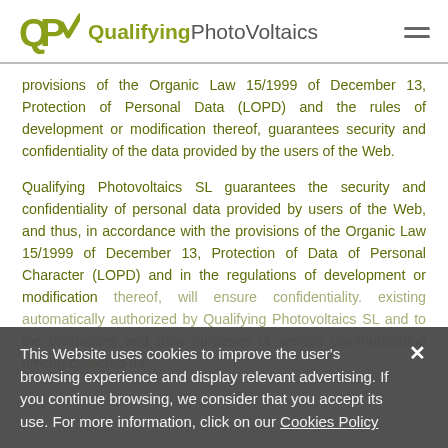QPV QualifyingPhotoVoltaics
provisions of the Organic Law 15/1999 of December 13, Protection of Personal Data (LOPD) and the rules of development or modification thereof, guarantees security and confidentiality of the data provided by the users of the Web.
Qualifying Photovoltaics SL guarantees the security and confidentiality of personal data provided by users of the Web, and thus, in accordance with the provisions of the Organic Law 15/1999 of December 13, Protection of Data of Personal Character (LOPD) and in the regulations of development or modification thereof, will ensure confidentiality. existing automatically authorized by Qualifying Photovoltaics SL and to the obligations and data purposes of service communicating among collected as
This Website uses cookies to improve the user's browsing experience and display relevant advertising. If you continue browsing, we consider that you accept its use. For more information, click on our Cookies Policy